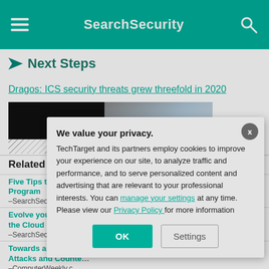SearchSecurity
Next Steps
Dragos: ICS security threats grew threefold in 2020
[Figure (screenshot): Partial screenshot of a video thumbnail with a dark left side and a woman visible on the right side]
Related Resou...
Five Tips to Improv... Program –SearchSecurity.com
Evolve your Endpo... the Cloud –SearchSecurity.com
Towards an Autono... Attacks and Counte... –ComputerWeekly.c...
We value your privacy. TechTarget and its partners employ cookies to improve your experience on our site, to analyze traffic and performance, and to serve personalized content and advertising that are relevant to your professional interests. You can manage your settings at any time. Please view our Privacy Policy for more information